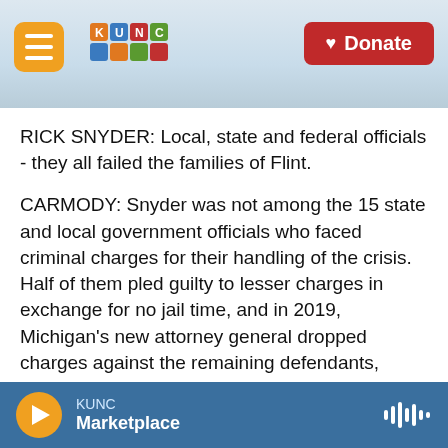KUNC logo and Donate button navigation bar
RICK SNYDER: Local, state and federal officials - they all failed the families of Flint.
CARMODY: Snyder was not among the 15 state and local government officials who faced criminal charges for their handling of the crisis. Half of them pled guilty to lesser charges in exchange for no jail time, and in 2019, Michigan's new attorney general dropped charges against the remaining defendants, citing problems with the original investigation. The investigation seemed over until yesterday, when the Associated Press reported
KUNC Marketplace